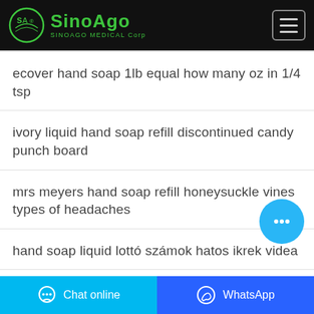SINOAGO MEDICAL Corp
ecover hand soap 1lb equal how many oz in 1/4 tsp
ivory liquid hand soap refill discontinued candy punch board
mrs meyers hand soap refill honeysuckle vines types of headaches
hand soap liquid lottó számok hatos ikrek videa
Chat online | WhatsApp